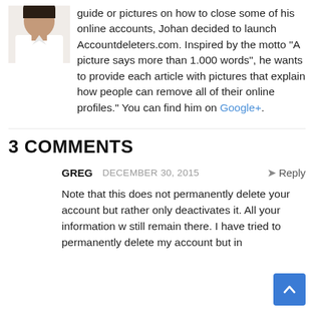[Figure (photo): A small profile photo of a person in a white shirt, partially cropped at the top-left corner of the page.]
guide or pictures on how to close some of his online accounts, Johan decided to launch Accountdeleters.com. Inspired by the motto "A picture says more than 1.000 words", he wants to provide each article with pictures that explain how people can remove all of their online profiles." You can find him on Google+.
3 COMMENTS
GREG  DECEMBER 30, 2015  Reply
Note that this does not permanently delete your account but rather only deactivates it. All your information w still remain there. I have tried to permanently delete my account but in